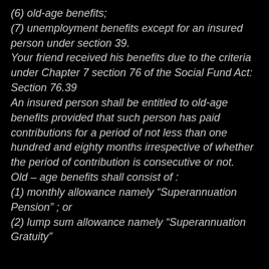(6) old-age benefits;
(7) unemployment benefits except for an insured person under section 39.
Your friend received his benefits due to the criteria under Chapter 7 section 76 of the Social Fund Act: Section 76.39
An insured person shall be entitled to old-age benefits provided that such person has paid contributions for a period of not less than one hundred and eighty months irrespective of whether the period of contribution is consecutive or not.
Old – age benefits shall consist of :
(1) monthly allowance namely “Superannuation Pension” ; or
(2) lump sum allowance namely “Superannuation Gratuity”